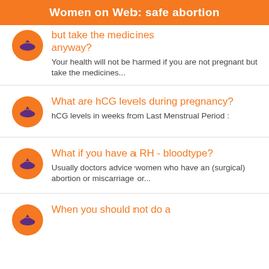Women on Web: safe abortion
but take the medicines anyway?
Your health will not be harmed if you are not pregnant but take the medicines...
What are hCG levels during pregnancy?
hCG levels in weeks from Last Menstrual Period :
What if you have a RH - bloodtype?
Usually doctors advice women who have an (surgical) abortion or miscarriage or...
When you should not do a